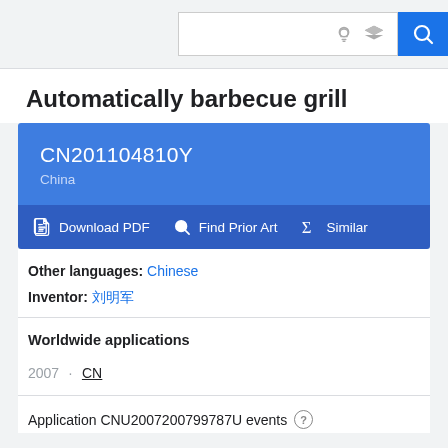Search bar with icons
Automatically barbecue grill
CN201104810Y
China
Download PDF | Find Prior Art | Similar
Other languages: Chinese
Inventor: 刘明军
Worldwide applications
2007 · CN
Application CNU2007200799787U events